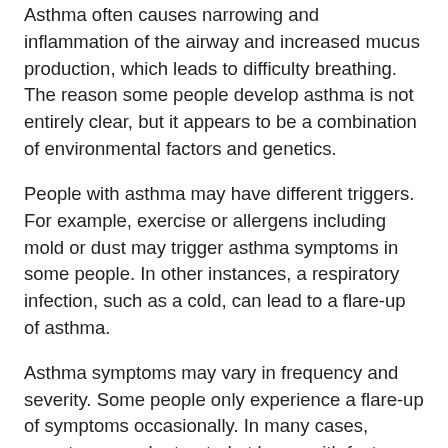Asthma often causes narrowing and inflammation of the airway and increased mucus production, which leads to difficulty breathing. The reason some people develop asthma is not entirely clear, but it appears to be a combination of environmental factors and genetics.
People with asthma may have different triggers. For example, exercise or allergens including mold or dust may trigger asthma symptoms in some people. In other instances, a respiratory infection, such as a cold, can lead to a flare-up of asthma.
Asthma symptoms may vary in frequency and severity. Some people only experience a flare-up of symptoms occasionally. In many cases, symptoms can be treated at home with fast-acting inhalers that relax the airways, which opens the breathing passages.
But in some instances, asthma symptoms are more